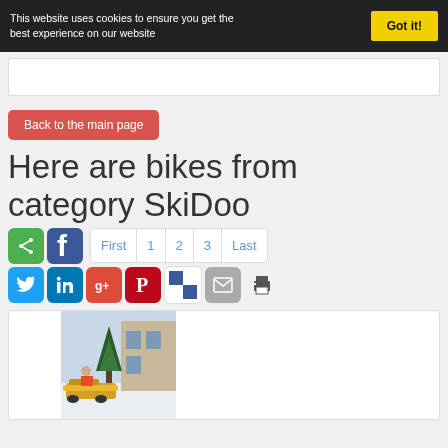This website uses cookies to ensure you get the best experience on our website
Got it!
Back to the main page
Here are bikes from category SkiDoo
First 1 2 3 Last
[Figure (screenshot): Social sharing icons: share (green), Facebook (blue), Twitter, LinkedIn, Google+, Pinterest, Delicious, Mail, Print]
[Figure (photo): Snowmobile/ski-doo parked outdoors near a building in snowy conditions]